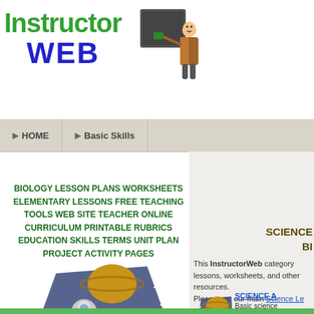[Figure (logo): InstructorWeb logo with green 'Instructor' text, blue 'WEB' text, and a cartoon teacher at chalkboard]
HOME  |  Basic Skills
BIOLOGY LESSON PLANS WORKSHEETS ELEMENTARY LESSONS FREE TEACHING TOOLS WEB SITE TEACHER ONLINE CURRICULUM PRINTABLE RUBRICS EDUCATION SKILLS TERMS UNIT PLAN PROJECT ACTIVITY PAGES
[Figure (illustration): Cartoon astronauts floating in space with a planet]
SCIENCE BI
This InstructorWeb category lessons, worksheets, and other resources. Please see our main Science Le
[Figure (illustration): Small cartoon astronauts floating in space]
SCIENCE A Basic science physics.